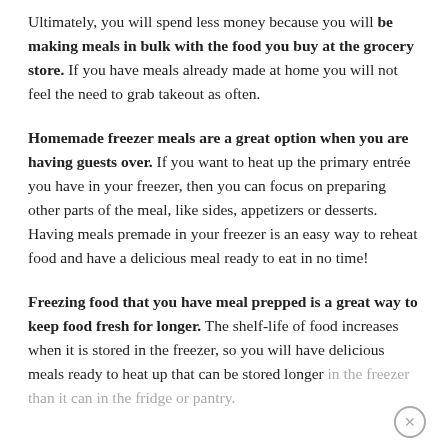Ultimately, you will spend less money because you will be making meals in bulk with the food you buy at the grocery store. If you have meals already made at home you will not feel the need to grab takeout as often.
Homemade freezer meals are a great option when you are having guests over. If you want to heat up the primary entrée you have in your freezer, then you can focus on preparing other parts of the meal, like sides, appetizers or desserts. Having meals premade in your freezer is an easy way to reheat food and have a delicious meal ready to eat in no time!
Freezing food that you have meal prepped is a great way to keep food fresh for longer. The shelf-life of food increases when it is stored in the freezer, so you will have delicious meals ready to heat up that can be stored longer in the freezer than it can in the fridge or pantry.